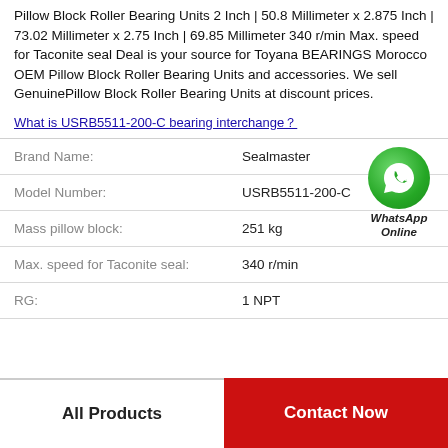Pillow Block Roller Bearing Units 2 Inch | 50.8 Millimeter x 2.875 Inch | 73.02 Millimeter x 2.75 Inch | 69.85 Millimeter 340 r/min Max. speed for Taconite seal Deal is your source for Toyana BEARINGS Morocco OEM Pillow Block Roller Bearing Units and accessories. We sell GenuinePillow Block Roller Bearing Units at discount prices.
What is USRB5511-200-C bearing interchange？
| Property | Value |
| --- | --- |
| Brand Name: | Sealmaster |
| Model Number: | USRB5511-200-C |
| Mass pillow block: | 251 kg |
| Max. speed for Taconite seal: | 340 r/min |
| RG: | 1 NPT |
[Figure (logo): WhatsApp Online green circle icon with phone handset, text WhatsApp Online below]
All Products
Contact Now